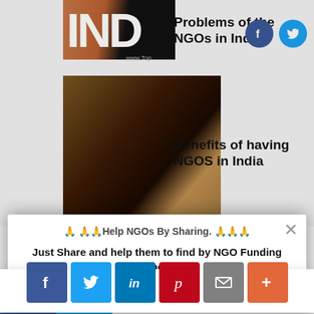[Figure (screenshot): Partial website background showing 'IND' logo text in black/brown, hands image, article titles 'Problems of the NGOs in India' and 'Benefits of having NGOS in India', with Facebook and Twitter icons]
🙏 🙏Help NGOs By Sharing. 🙏🙏
Just Share and help them to find by NGO Funding agencies.
[Figure (infographic): Social share buttons row: Facebook (blue), Twitter (light blue), LinkedIn (dark blue), Pinterest (red), Email (grey), More/Plus (orange-red)]
SHARES | AddThis